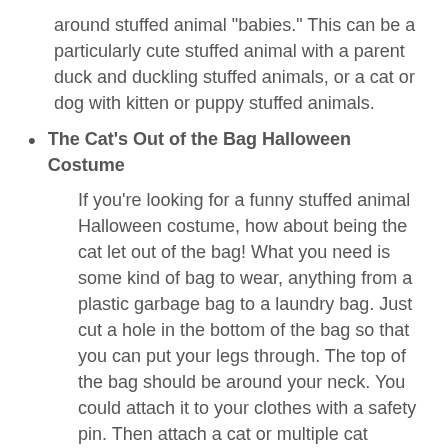around stuffed animal "babies." This can be a particularly cute stuffed animal with a parent duck and duckling stuffed animals, or a cat or dog with kitten or puppy stuffed animals.
The Cat's Out of the Bag Halloween Costume
If you're looking for a funny stuffed animal Halloween costume, how about being the cat let out of the bag! What you need is some kind of bag to wear, anything from a plastic garbage bag to a laundry bag. Just cut a hole in the bottom of the bag so that you can put your legs through. The top of the bag should be around your neck. You could attach it to your clothes with a safety pin. Then attach a cat or multiple cat stuffed animals to the outside of the bag with string. And thus the stuffed animal cats are out of the bag!